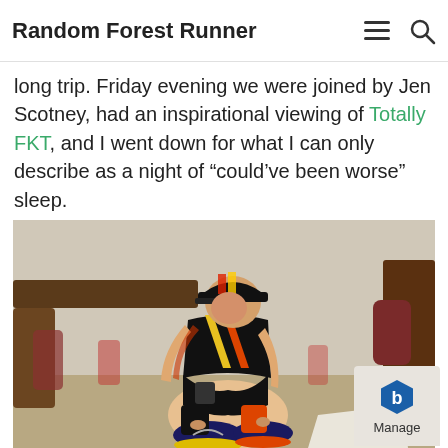Random Forest Runner
long trip. Friday evening we were joined by Jen Scotney, had an inspirational viewing of Totally FKT, and I went down for what I can only describe as a night of “could’ve been worse” sleep.
[Figure (photo): A trail runner in a black and yellow/orange race kit and cap sits on a chair tying their running shoes, photographed from a low angle in a room with wooden furniture.]